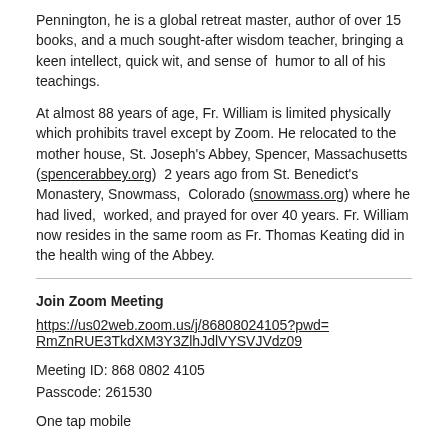Pennington, he is a global retreat master, author of over 15 books, and a much sought-after wisdom teacher, bringing a keen intellect, quick wit, and sense of humor to all of his teachings.
At almost 88 years of age, Fr. William is limited physically which prohibits travel except by Zoom. He relocated to the mother house, St. Joseph's Abbey, Spencer, Massachusetts (spencerabbey.org) 2 years ago from St. Benedict's Monastery, Snowmass, Colorado (snowmass.org) where he had lived, worked, and prayed for over 40 years. Fr. William now resides in the same room as Fr. Thomas Keating did in the health wing of the Abbey.
Join Zoom Meeting
https://us02web.zoom.us/j/86808024105?pwd=RmZnRUE3TkdXM3Y3ZlhJdlVYSVJVdz09
Meeting ID: 868 0802 4105
Passcode: 261530
One tap mobile